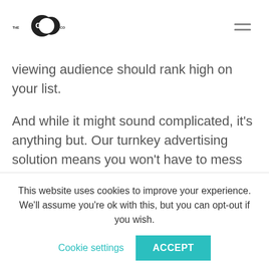[Figure (logo): The CC Co logo — two overlapping circles with CC text inside, with 'THE' to the left and 'CO' to the right in small text]
viewing audience should rank high on your list.
And while it might sound complicated, it's anything but. Our turnkey advertising solution means you won't have to mess around with complicated marketing processes. We do the work,
This website uses cookies to improve your experience. We'll assume you're ok with this, but you can opt-out if you wish.
Cookie settings
ACCEPT